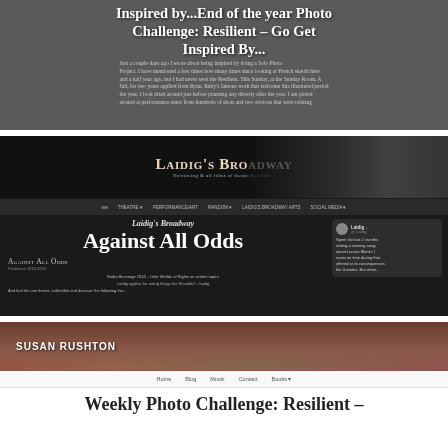[Figure (screenshot): Screenshot of a blog post preview with dark grey background. Title reads 'Inspired by...End of the year Photo Challenge: Resilient – Go Get Inspired By...' in white bold text over a grey background with partially visible body text below.]
[Figure (screenshot): Screenshot of 'Laidig's Broadway' blog showing a post titled 'Against All Odds'. Dark themed blog with header showing eyes in the background, navigation bar, blog post title in large white text, excerpt lines, and a sidebar tweet.]
[Figure (screenshot): Screenshot of 'Susan Rushton' blog with a colorful floral header image, navigation bar (Home, Blog, Music, Contact, Books), and beginning of a post title 'Weekly Photo Challenge: Resilient –']